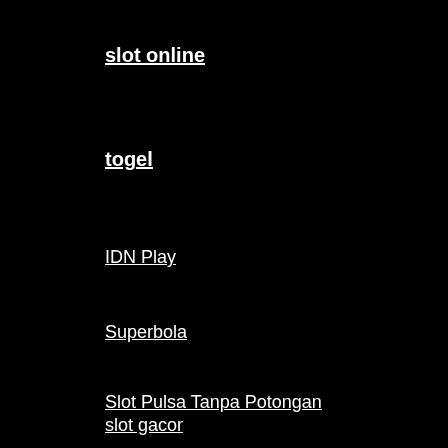slot online
togel
IDN Play
Superbola
Slot Pulsa Tanpa Potongan
slot online terpercaya
slot gacor